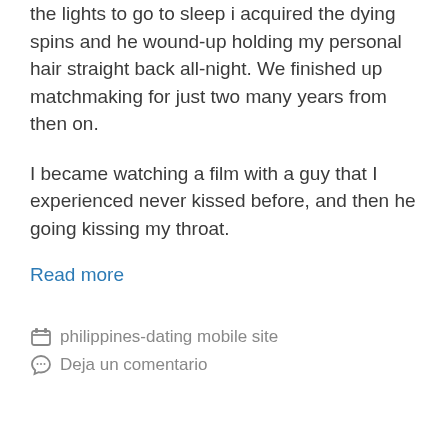the lights to go to sleep i acquired the dying spins and he wound-up holding my personal hair straight back all-night. We finished up matchmaking for just two many years from then on.
I became watching a film with a guy that I experienced never kissed before, and then he going kissing my throat.
Read more
philippines-dating mobile site
Deja un comentario